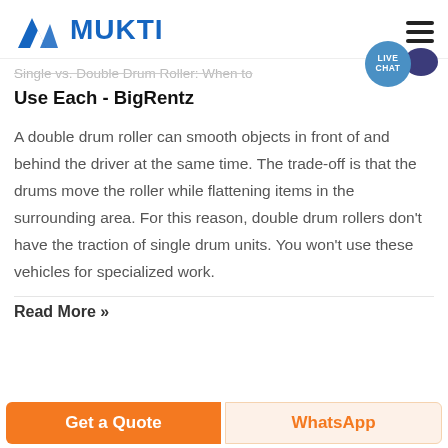MUKTI
Single vs. Double Drum Roller: When to Use Each - BigRentz
A double drum roller can smooth objects in front of and behind the driver at the same time. The trade-off is that the drums move the roller while flattening items in the surrounding area. For this reason, double drum rollers don't have the traction of single drum units. You won't use these vehicles for specialized work.
Read More »